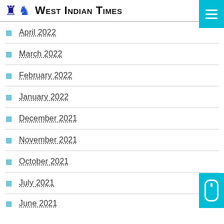West Indian Times
April 2022
March 2022
February 2022
January 2022
December 2021
November 2021
October 2021
July 2021
June 2021